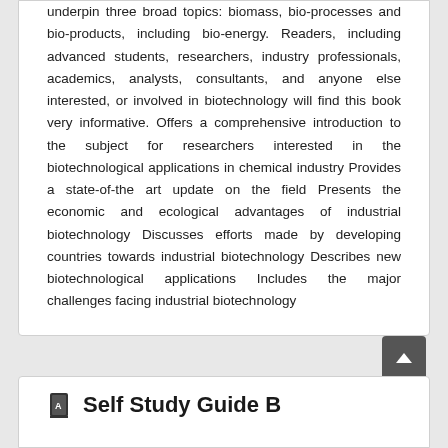underpin three broad topics: biomass, bio-processes and bio-products, including bio-energy. Readers, including advanced students, researchers, industry professionals, academics, analysts, consultants, and anyone else interested, or involved in biotechnology will find this book very informative. Offers a comprehensive introduction to the subject for researchers interested in the biotechnological applications in chemical industry Provides a state-of-the art update on the field Presents the economic and ecological advantages of industrial biotechnology Discusses efforts made by developing countries towards industrial biotechnology Describes new biotechnological applications Includes the major challenges facing industrial biotechnology
Self Study Guide B